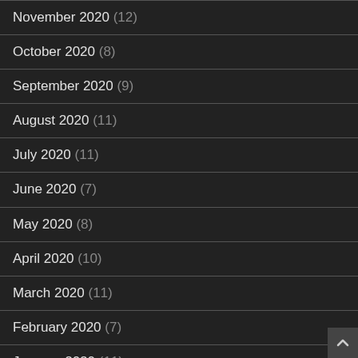November 2020 (12)
October 2020 (8)
September 2020 (9)
August 2020 (11)
July 2020 (11)
June 2020 (7)
May 2020 (8)
April 2020 (10)
March 2020 (11)
February 2020 (7)
January 2020 (11)